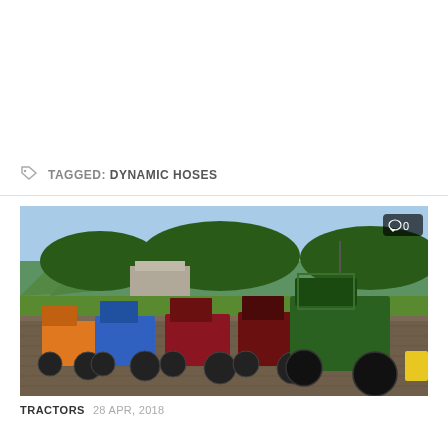TAGGED: DYNAMIC HOSES
[Figure (screenshot): Screenshot from Farming Simulator 17 showing multiple tractors (orange, blue, red/maroon, and green) lined up on a cobblestone farm yard with trees and buildings in the background. A comment badge showing '0' is visible in the top right corner of the image.]
TRACTORS 28 APR, 2018